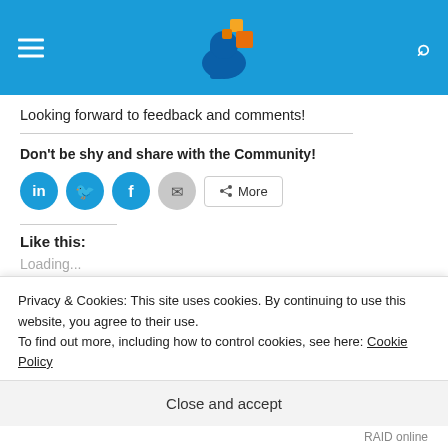Navigation header with logo
Looking forward to feedback and comments!
Don't be shy and share with the Community!
[Figure (illustration): Social sharing buttons: LinkedIn, Twitter, Facebook, Email circles and a More button]
Like this:
Loading...
Tags  HPF StoreVirtual
Privacy & Cookies: This site uses cookies. By continuing to use this website, you agree to their use.
To find out more, including how to control cookies, see here: Cookie Policy
Close and accept
RAID online